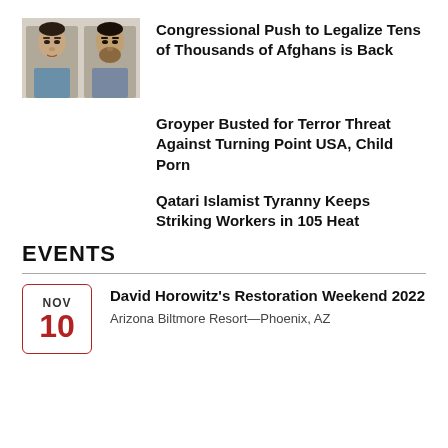[Figure (photo): Two mugshot-style photos of men side by side]
Congressional Push to Legalize Tens of Thousands of Afghans is Back
Groyper Busted for Terror Threat Against Turning Point USA, Child Porn
Qatari Islamist Tyranny Keeps Striking Workers in 105 Heat
EVENTS
David Horowitz's Restoration Weekend 2022
Arizona Biltmore Resort—Phoenix, AZ